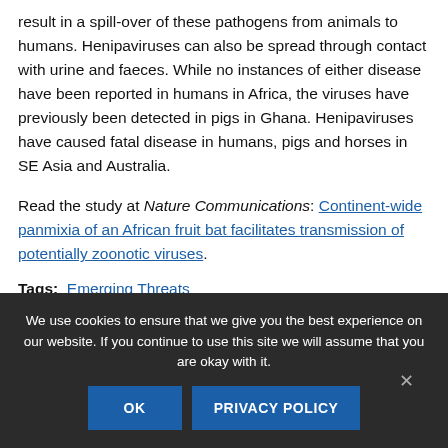result in a spill-over of these pathogens from animals to humans. Henipaviruses can also be spread through contact with urine and faeces. While no instances of either disease have been reported in humans in Africa, the viruses have previously been detected in pigs in Ghana. Henipaviruses have caused fatal disease in humans, pigs and horses in SE Asia and Australia.
Read the study at Nature Communications: Continent-wide panmixia of an African fruit bat facilitates transmission of potentially zoonotic viruses.
Tags: Emerging Threats
We use cookies to ensure that we give you the best experience on our website. If you continue to use this site we will assume that you are okay with it.